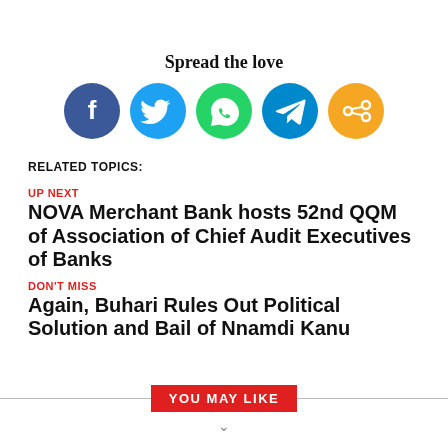Spread the love
[Figure (infographic): Five social sharing icon buttons in circles: Facebook (dark blue), Twitter (light blue), WhatsApp (green), Telegram (blue), Share (orange)]
RELATED TOPICS:
UP NEXT
NOVA Merchant Bank hosts 52nd QQM of Association of Chief Audit Executives of Banks
DON'T MISS
Again, Buhari Rules Out Political Solution and Bail of Nnamdi Kanu
YOU MAY LIKE